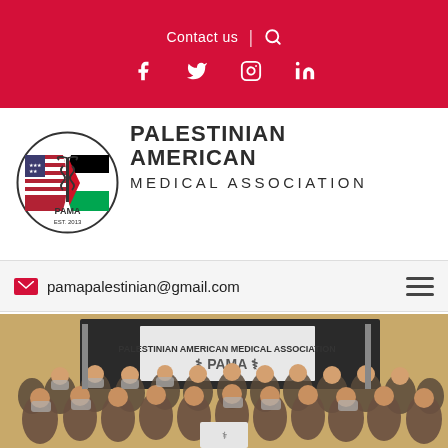Contact us | [search icon]
[Figure (illustration): Social media icons: Facebook, Twitter, Instagram, LinkedIn on red background]
[Figure (logo): Palestinian American Medical Association circular logo with PAMA text and EST. 2013]
PALESTINIAN AMERICAN MEDICAL ASSOCIATION
pamapalestinian@gmail.com
[Figure (photo): Group photo of many people wearing face masks at a PAMA (Palestinian American Medical Association) event, with a PAMA banner visible in the background]